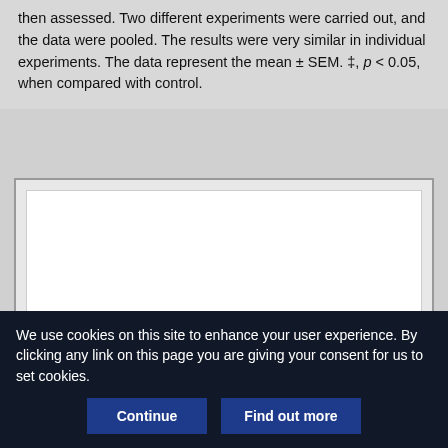then assessed. Two different experiments were carried out, and the data were pooled. The results were very similar in individual experiments. The data represent the mean ± SEM. ‡, p < 0.05, when compared with control.
[Figure (other): White figure/image panel with grey border, content not visible (partially shown scientific figure)]
We use cookies on this site to enhance your user experience. By clicking any link on this page you are giving your consent for us to set cookies.